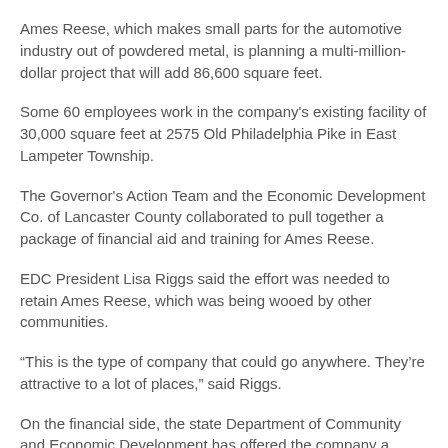Ames Reese, which makes small parts for the automotive industry out of powdered metal, is planning a multi-million-dollar project that will add 86,600 square feet.
Some 60 employees work in the company's existing facility of 30,000 square feet at 2575 Old Philadelphia Pike in East Lampeter Township.
The Governor's Action Team and the Economic Development Co. of Lancaster County collaborated to pull together a package of financial aid and training for Ames Reese.
EDC President Lisa Riggs said the effort was needed to retain Ames Reese, which was being wooed by other communities.
“This is the type of company that could go anywhere. They’re attractive to a lot of places,” said Riggs.
On the financial side, the state Department of Community and Economic Development has offered the company a $150,000 state grant and $90,000 in state job-creation tax credits.